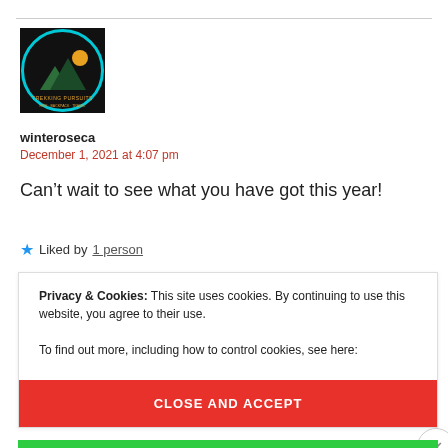[Figure (logo): Circular logo with dark background, cyan border, mountain/nature scene, and small text 'TREKKING PURSUITS' or similar]
winteroseca
December 1, 2021 at 4:07 pm
Can't wait to see what you have got this year!
★ Liked by 1 person
Privacy & Cookies: This site uses cookies. By continuing to use this website, you agree to their use.
To find out more, including how to control cookies, see here:
Cookie Policy
CLOSE AND ACCEPT